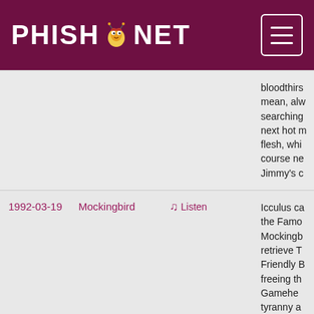PHISH.NET
| Date | Song | Listen | Description |
| --- | --- | --- | --- |
|  |  |  | ...bloodthirs... mean, alw... searching... next hot m... flesh, whi... course ne... Jimmy's c... |
| 1992-03-19 | Mockingbird | Listen | Icculus ca... the Famo... Mockingb... retrieve T... Friendly B... freeing th... Gamehe... tyranny a... |
| 1992-03-24 | Mockingbird | Listen | Here Trey... the story ... Lizard Pe... |